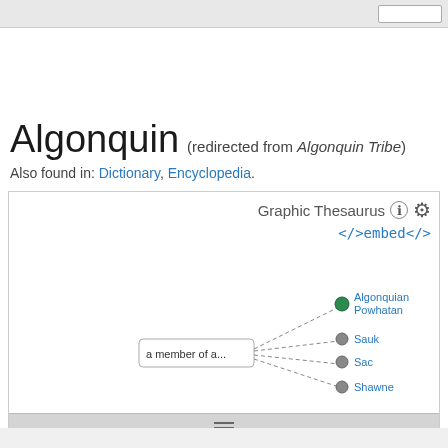Algonquin (redirected from Algonquin Tribe)
Also found in: Dictionary, Encyclopedia.
[Figure (network-graph): Graphic Thesaurus embed panel showing a partial network graph with node 'a member of a...' connected by dashed lines to nodes: Algonquian/Powhatan, Sauk, Sac, Shawnee (partially visible). A settings gear icon and embed code link are shown at top right.]